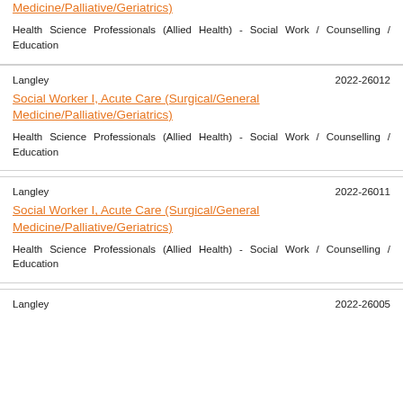Social Worker I, Acute Care (Surgical/General Medicine/Palliative/Geriatrics)
Health Science Professionals (Allied Health) - Social Work / Counselling / Education
Langley    2022-26012
Social Worker I, Acute Care (Surgical/General Medicine/Palliative/Geriatrics)
Health Science Professionals (Allied Health) - Social Work / Counselling / Education
Langley    2022-26011
Social Worker I, Acute Care (Surgical/General Medicine/Palliative/Geriatrics)
Health Science Professionals (Allied Health) - Social Work / Counselling / Education
Langley    2022-26005